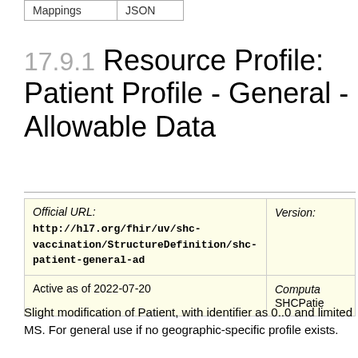| Mappings | JSON |
| --- | --- |
17.9.1 Resource Profile: Patient Profile - General - Allowable Data
| Official URL:
http://hl7.org/fhir/uv/shc-vaccination/StructureDefinition/shc-patient-general-ad | Version: |
| Active as of 2022-07-20 | Computable Name:
SHCPatie |
Slight modification of Patient, with identifier as 0..0 and limited MS. For general use if no geographic-specific profile exists.